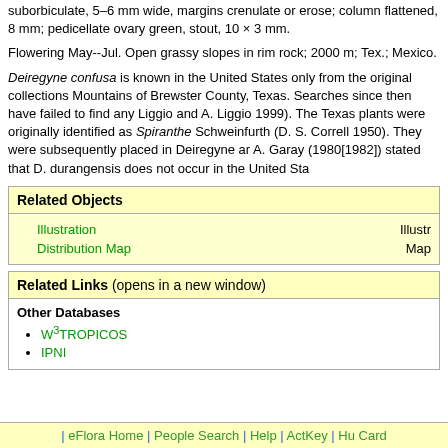suborbiculate, 5–6 mm wide, margins crenulate or erose; column flattened, 8 mm; pedicellate ovary green, stout, 10 × 3 mm.
Flowering May--Jul. Open grassy slopes in rim rock; 2000 m; Tex.; Mexico.
Deiregyne confusa is known in the United States only from the original collections Mountains of Brewster County, Texas. Searches since then have failed to find any Liggio and A. Liggio 1999). The Texas plants were originally identified as Spiranthe Schweinfurth (D. S. Correll 1950). They were subsequently placed in Deiregyne ar A. Garay (1980[1982]) stated that D. durangensis does not occur in the United Sta
| Related Objects |  |
| --- | --- |
| Illustration | Illustr |
| Distribution Map | Map |
| Related Links (opens in a new window) |
| --- |
| Other Databases |  |
| W3TROPICOS |  |
| IPNI |  |
| eFlora Home | People Search | Help | ActKey | Hu Card